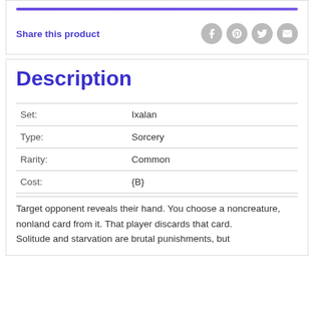Share this product
Description
| Field | Value |
| --- | --- |
| Set: | Ixalan |
| Type: | Sorcery |
| Rarity: | Common |
| Cost: | {B} |
Target opponent reveals their hand. You choose a noncreature, nonland card from it. That player discards that card.
Solitude and starvation are brutal punishments, but